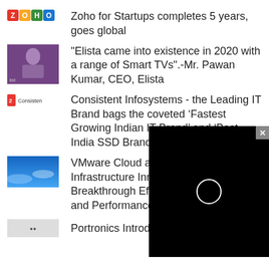Zoho for Startups completes 5 years, goes global
"Elista came into existence in 2020 with a range of Smart TVs".-Mr. Pawan Kumar, CEO, Elista
Consistent Infosystems - the Leading IT Brand bags the coveted ‘Fastest Growing Indian IT Brand’ and ‘Best India SSD Brand’
VMware Cloud and Edge Infrastructure Innovation: Breakthrough Efficiency and Performance Gains
Portronics Introduces ‘BEEM 300’